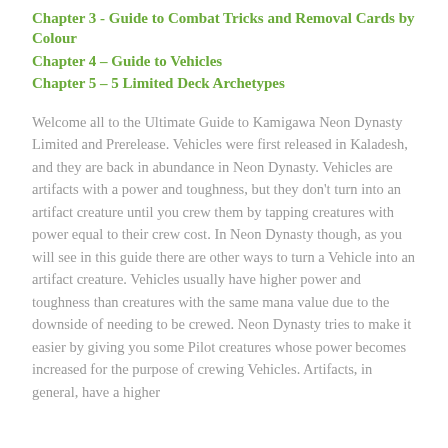Chapter 3 - Guide to Combat Tricks and Removal Cards by Colour
Chapter 4 – Guide to Vehicles
Chapter 5 – 5 Limited Deck Archetypes
Welcome all to the Ultimate Guide to Kamigawa Neon Dynasty Limited and Prerelease. Vehicles were first released in Kaladesh, and they are back in abundance in Neon Dynasty. Vehicles are artifacts with a power and toughness, but they don't turn into an artifact creature until you crew them by tapping creatures with power equal to their crew cost. In Neon Dynasty though, as you will see in this guide there are other ways to turn a Vehicle into an artifact creature. Vehicles usually have higher power and toughness than creatures with the same mana value due to the downside of needing to be crewed. Neon Dynasty tries to make it easier by giving you some Pilot creatures whose power becomes increased for the purpose of crewing Vehicles. Artifacts, in general, have a higher